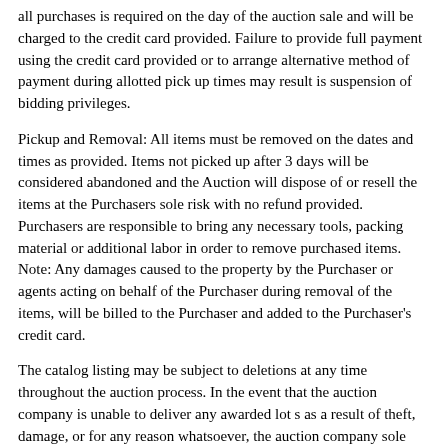all purchases is required on the day of the auction sale and will be charged to the credit card provided. Failure to provide full payment using the credit card provided or to arrange alternative method of payment during allotted pick up times may result is suspension of bidding privileges.
Pickup and Removal: All items must be removed on the dates and times as provided. Items not picked up after 3 days will be considered abandoned and the Auction will dispose of or resell the items at the Purchasers sole risk with no refund provided. Purchasers are responsible to bring any necessary tools, packing material or additional labor in order to remove purchased items. Note: Any damages caused to the property by the Purchaser or agents acting on behalf of the Purchaser during removal of the items, will be billed to the Purchaser and added to the Purchaser's credit card.
The catalog listing may be subject to deletions at any time throughout the auction process. In the event that the auction company is unable to deliver any awarded lot s as a result of theft, damage, or for any reason whatsoever, the auction company sole liability shall be the return of any monies paid on such lots. The auction company and their employees are not liable for any loss, damage or accidents that may occur on the auction premises.
Bid Increments: Your bids automatically enter the bidding process...